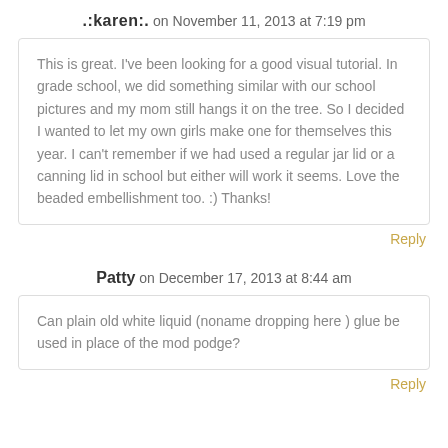.:karen:. on November 11, 2013 at 7:19 pm
This is great. I've been looking for a good visual tutorial. In grade school, we did something similar with our school pictures and my mom still hangs it on the tree. So I decided I wanted to let my own girls make one for themselves this year. I can't remember if we had used a regular jar lid or a canning lid in school but either will work it seems. Love the beaded embellishment too. :) Thanks!
Reply
Patty on December 17, 2013 at 8:44 am
Can plain old white liquid (noname dropping here ) glue be used in place of the mod podge?
Reply